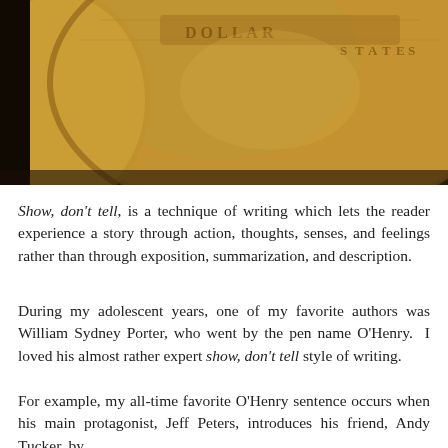[Figure (photo): Close-up photograph of a coin showing detailed relief engravings, with warm brown/copper tones against a dark background. The coin appears to be a golden or bronze colored coin with text and imagery visible on its surface.]
Show, don't tell, is a technique of writing which lets the reader experience a story through action, thoughts, senses, and feelings rather than through exposition, summarization, and description.
During my adolescent years, one of my favorite authors was William Sydney Porter, who went by the pen name O'Henry.  I loved his almost rather expert show, don't tell style of writing.
For example, my all-time favorite O'Henry sentence occurs when his main protagonist, Jeff Peters, introduces his friend, Andy Tucker, by